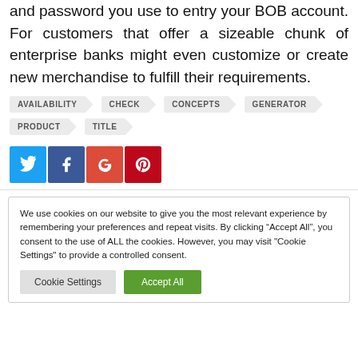and password you use to entry your BOB account. For customers that offer a sizeable chunk of enterprise banks might even customize or create new merchandise to fulfill their requirements.
AVAILABILITY
CHECK
CONCEPTS
GENERATOR
PRODUCT
TITLE
[Figure (other): Social share buttons: Twitter (blue), Facebook (dark blue), Google+ (orange-red), Pinterest (red)]
We use cookies on our website to give you the most relevant experience by remembering your preferences and repeat visits. By clicking “Accept All”, you consent to the use of ALL the cookies. However, you may visit "Cookie Settings" to provide a controlled consent.
Cookie Settings   Accept All